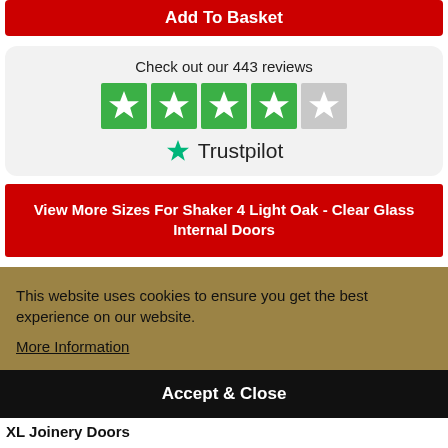Add To Basket
[Figure (other): Trustpilot widget showing 4.5 green stars and 443 reviews]
View More Sizes For Shaker 4 Light Oak - Clear Glass Internal Doors
This website uses cookies to ensure you get the best experience on our website.
More Information
Accept & Close
XL Joinery Doors